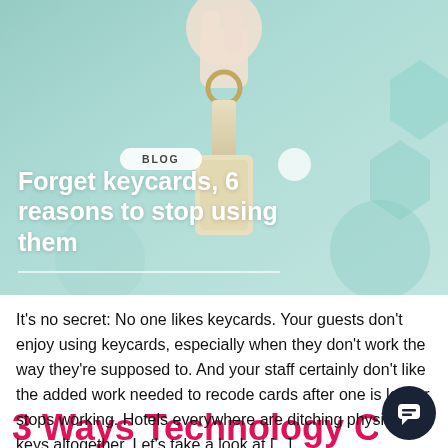[Figure (photo): Hero image showing a hand holding hotel/house keys with a keychain tag, overlaid on a teal/mint background with decorative hexagon shapes. Badge labeled BLOG and title text overlay.]
Forget keycards, 6 reasons to stop using them
It's no secret: No one likes keycards. Your guests don't enjoy using keycards, especially when they don't work the way they're supposed to. And your staff certainly don't like the added work needed to recode cards after one is lost or stops working. Hotels everywhere are ditching physical keys altogether. Let's take a look at […]
3 Ways Technology Can Help